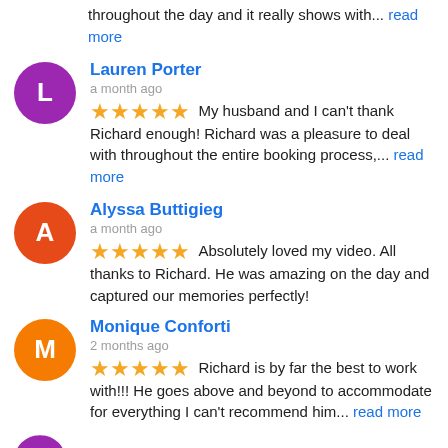throughout the day and it really shows with... read more
Lauren Porter
a month ago
My husband and I can't thank Richard enough! Richard was a pleasure to deal with throughout the entire booking process,... read more
Alyssa Buttigieg
a month ago
Absolutely loved my video. All thanks to Richard. He was amazing on the day and captured our memories perfectly!
Monique Conforti
2 months ago
Richard is by far the best to work with!!! He goes above and beyond to accommodate for everything I can't recommend him... read more
ALAI EVENTS